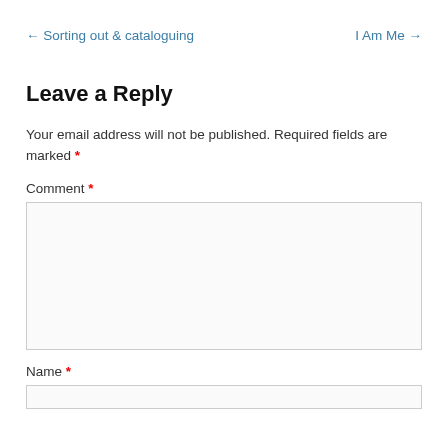← Sorting out & cataloguing    I Am Me →
Leave a Reply
Your email address will not be published. Required fields are marked *
Comment *
Name *